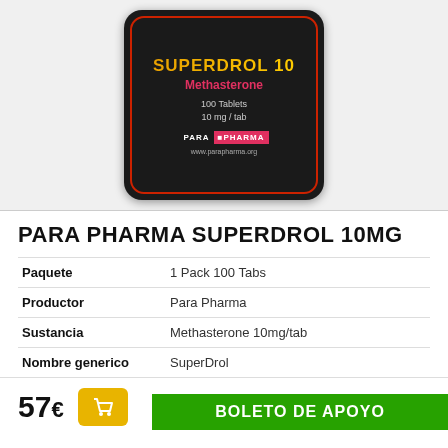[Figure (photo): Product packaging image: black rounded square package with 'SUPERDROL 10' in gold/yellow text, 'Methasterone' in pink/red text, '100 Tablets 10 mg / tab', Para Pharma branding with blue and red logo, and website www.parapharma.org]
PARA PHARMA SUPERDROL 10MG
| Paquete | 1 Pack 100 Tabs |
| Productor | Para Pharma |
| Sustancia | Methasterone 10mg/tab |
| Nombre generico | SuperDrol |
57€
BOLETO DE APOYO